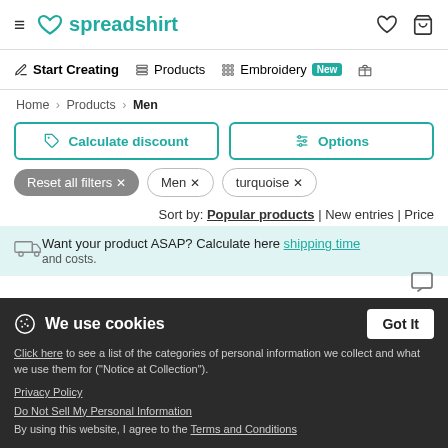≡ spreadshirt
✎ Start Creating  Products  ⊞ Embroidery New  🎁
Home > Products > Men
Calculate discount
Options
Reset all filters ×  Men ×  turquoise ×
Sort by: Popular products | New entries | Price
Want your product ASAP? Calculate here shipping time and costs.
We use cookies
Click here to see a list of the categories of personal information we collect and what we use them for ("Notice at Collection").
Privacy Policy
Do Not Sell My Personal Information
By using this website, I agree to the Terms and Conditions
Men's Premium T-Shirt
Available for children & adults
Size: S - 5XL & 20 Colors